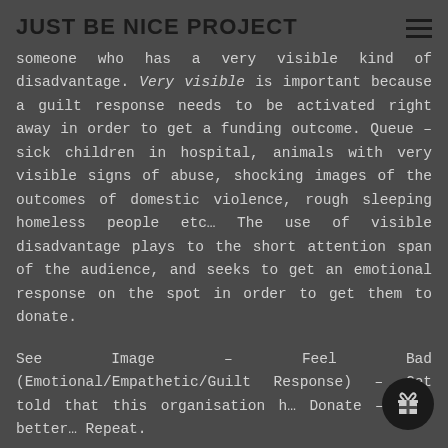JUST BE NICE PROJECT
someone who has a very visible kind of disadvantage. Very visible is important because a guilt response needs to be activated right away in order to get a funding outcome. Queue – sick children in hospital, animals with very visible signs of abuse, shocking images of the outcomes of domestic violence, rough sleeping homeless people etc… The use of visible disadvantage plays to the short attention span of the audience, and seeks to get an emotional response on the spot in order to get them to donate.
See Image – Feel Bad (Emotional/Empathetic/Guilt Response) – Get told that this organisation h… Donate – Feel better… Repeat.